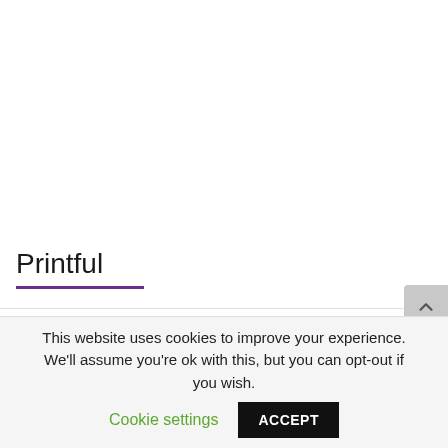Printful
Want to open an online print product store?
This website uses cookies to improve your experience. We'll assume you're ok with this, but you can opt-out if you wish. Cookie settings ACCEPT